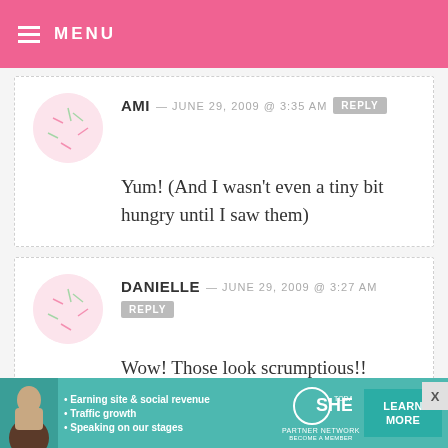≡ MENU
AMI — JUNE 29, 2009 @ 3:35 AM  REPLY
Yum! (And I wasn't even a tiny bit hungry until I saw them)
DANIELLE — JUNE 29, 2009 @ 3:27 AM  REPLY
Wow! Those look scrumptious!! Thank you!
[Figure (infographic): SHE Partner Network advertisement banner with photo, bullet points about earning site & social revenue, traffic growth, speaking on our stages, SHE logo, and LEARN MORE button]